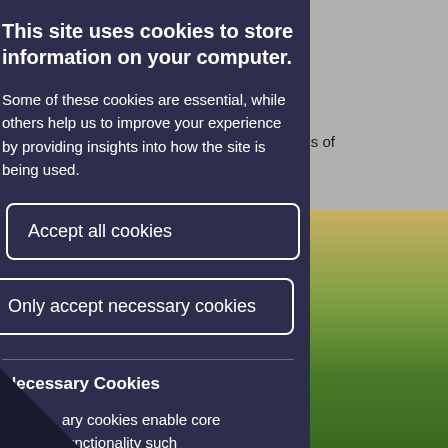cal
at
levels of end.
e capable
[Figure (photo): Aerial photo of agricultural fields with green crops and brown earth]
This site uses cookies to store information on your computer.
Some of these cookies are essential, while others help us to improve your experience by providing insights into how the site is being used.
Accept all cookies
Only accept necessary cookies
Necessary Cookies
ary cookies enable core functionality such as navigation and access to secure areas.